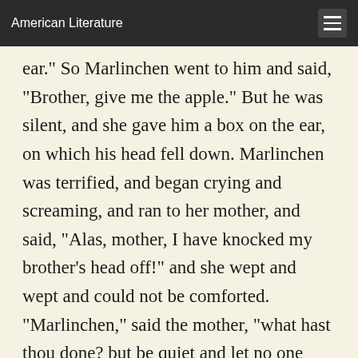American Literature
ear." So Marlinchen went to him and said, "Brother, give me the apple." But he was silent, and she gave him a box on the ear, on which his head fell down. Marlinchen was terrified, and began crying and screaming, and ran to her mother, and said, "Alas, mother, I have knocked my brother's head off!" and she wept and wept and could not be comforted. "Marlinchen," said the mother, "what hast thou done? but be quiet and let no one know it; it cannot be helped now, we will make him into black-puddings." Then the mother took the little boy and chopped him in pieces, put him into the pan and made him into black puddings; but Marlinchen stood by weeping and weeping, and all her tears fell into